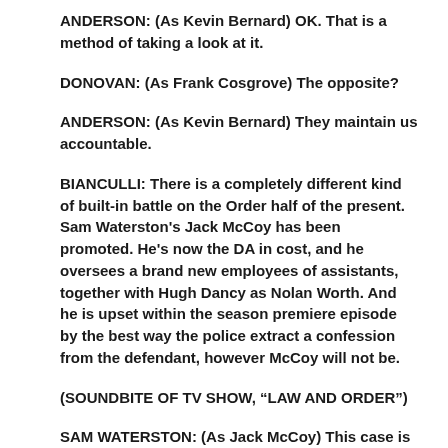ANDERSON: (As Kevin Bernard) OK. That is a method of taking a look at it.
DONOVAN: (As Frank Cosgrove) The opposite?
ANDERSON: (As Kevin Bernard) They maintain us accountable.
BIANCULLI: There is a completely different kind of built-in battle on the Order half of the present. Sam Waterston's Jack McCoy has been promoted. He's now the DA in cost, and he oversees a brand new employees of assistants, together with Hugh Dancy as Nolan Worth. And he is upset within the season premiere episode by the best way the police extract a confession from the defendant, however McCoy will not be.
(SOUNDBITE OF TV SHOW, “LAW AND ORDER”)
SAM WATERSTON: (As Jack McCoy) This case is